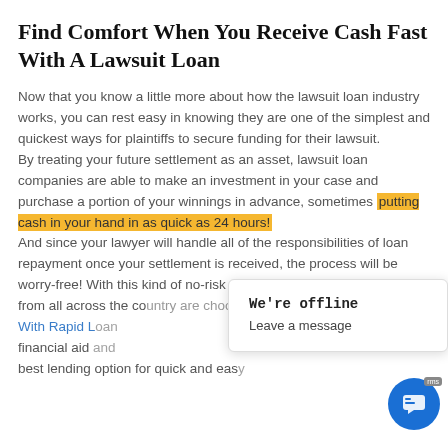Find Comfort When You Receive Cash Fast With A Lawsuit Loan
Now that you know a little more about how the lawsuit loan industry works, you can rest easy in knowing they are one of the simplest and quickest ways for plaintiffs to secure funding for their lawsuit. By treating your future settlement as an asset, lawsuit loan companies are able to make an investment in your case and purchase a portion of your winnings in advance, sometimes putting cash in your hand in as quick as 24 hours! And since your lawyer will handle all of the responsibilities of loan repayment once your settlement is received, the process will be worry-free! With this kind of no-risk situation, it's no wonder plaintiffs from all across the co[untry are choosing to seek] [assistance] With Rapid L[oan…] financial aid [… best lending option for quick and eas]y
[Figure (other): Chat popup overlay showing 'We're offline / Leave a message' with a blue circular chat button icon in the bottom right corner]